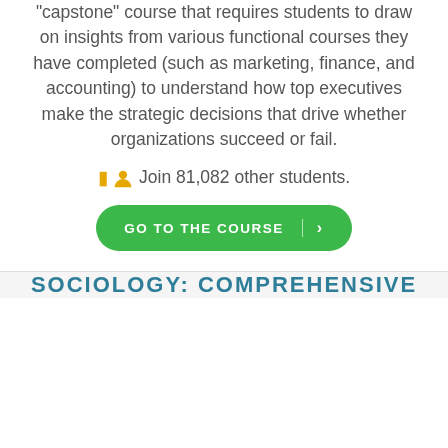“capstone” course that requires students to draw on insights from various functional courses they have completed (such as marketing, finance, and accounting) to understand how top executives make the strategic decisions that drive whether organizations succeed or fail.
Join 81,082 other students.
GO TO THE COURSE >
SOCIOLOGY: COMPREHENSIVE